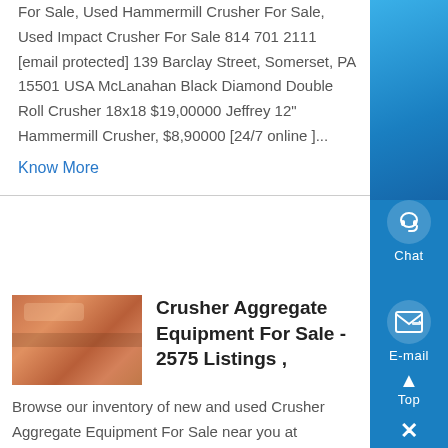For Sale, Used Hammermill Crusher For Sale, Used Impact Crusher For Sale 814 701 2111 [email protected] 139 Barclay Street, Somerset, PA 15501 USA McLanahan Black Diamond Double Roll Crusher 18x18 $19,00000 Jeffrey 12" Hammermill Crusher, $8,90000 [24/7 online ]...
Know More
[Figure (photo): Thumbnail image of crusher aggregate equipment, showing orange/brown metallic industrial equipment parts]
Crusher Aggregate Equipment For Sale - 2575 Listings ,
Browse our inventory of new and used Crusher Aggregate Equipment For Sale near you at MachineryTrader Top manufacturers include KINGLINK, , POWERSCREEN, CEDARAPIDS, . .